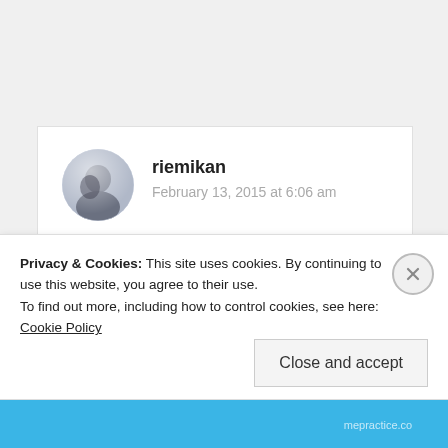riemikan
February 13, 2015 at 6:06 am
Ah your post helps me to understand the topic better. I always thought that it is somewhat negative. Maybe that’s because of what I am
Privacy & Cookies: This site uses cookies. By continuing to use this website, you agree to their use.
To find out more, including how to control cookies, see here: Cookie Policy
Close and accept